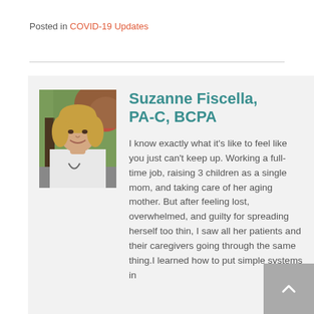Posted in COVID-19 Updates
[Figure (photo): Portrait photo of Suzanne Fiscella, a blonde woman smiling, wearing a white medical coat with a stethoscope, photographed outdoors with trees in the background]
Suzanne Fiscella, PA-C, BCPA
I know exactly what it's like to feel like you just can't keep up. Working a full-time job, raising 3 children as a single mom, and taking care of her aging mother. But after feeling lost, overwhelmed, and guilty for spreading herself too thin, I saw all her patients and their caregivers going through the same thing.I learned how to put simple systems in